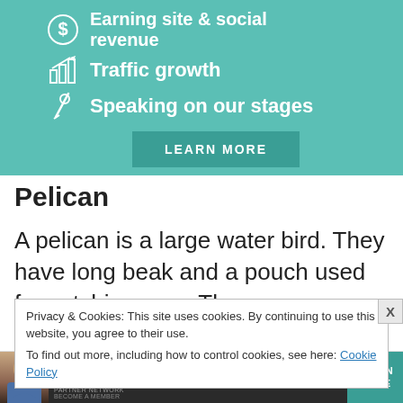[Figure (infographic): Teal/green banner advertisement with three items listed with icons: dollar sign icon for 'Earning site & social revenue', bar chart icon for 'Traffic growth', microphone icon for 'Speaking on our stages', and a 'LEARN MORE' button]
Pelican
A pelican is a large water bird. They have long beak and a pouch used for catching prey. The
Privacy & Cookies: This site uses cookies. By continuing to use this website, you agree to their use.
To find out more, including how to control cookies, see here: Cookie Policy
[Figure (infographic): Bottom advertisement banner for SHE Partner Network showing a woman, text 'Earning site & social revenue', SHE logo, and 'LEARN MORE' button]